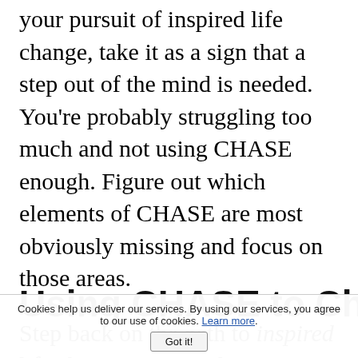your pursuit of inspired life change, take it as a sign that a step out of the mind is needed. You're probably struggling too much and not using CHASE enough. Figure out which elements of CHASE are most obviously missing and focus on those areas.
Step back on the path to inspired life change again and again.
Using CHASE to Change
Cookies help us deliver our services. By using our services, you agree to our use of cookies. Learn more. Got it!